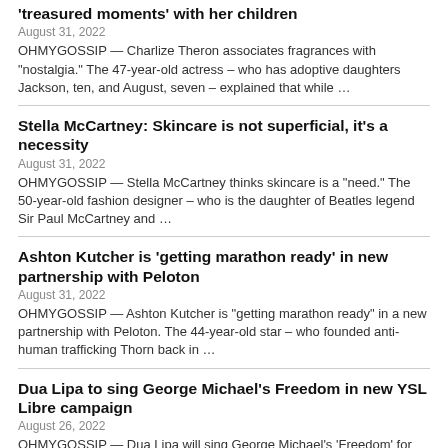‘treasured moments’ with her children
August 31, 2022
OHMYGOSSIP — Charlize Theron associates fragrances with “nostalgia.” The 47-year-old actress – who has adoptive daughters Jackson, ten, and August, seven – explained that while …
Stella McCartney: Skincare is not superficial, it’s a necessity
August 31, 2022
OHMYGOSSIP — Stella McCartney thinks skincare is a “need.” The 50-year-old fashion designer – who is the daughter of Beatles legend Sir Paul McCartney and …
Ashton Kutcher is ‘getting marathon ready’ in new partnership with Peloton
August 31, 2022
OHMYGOSSIP — Ashton Kutcher is “getting marathon ready” in a new partnership with Peloton. The 44-year-old star – who founded anti-human trafficking Thorn back in …
Dua Lipa to sing George Michael’s Freedom in new YSL Libre campaign
August 26, 2022
OHMYGOSSIP — Dua Lipa will sing George Michael’s ‘Freedom’ for the new YSL Beauté Libre campaign. The 27-year-old singer returns as the face of the …